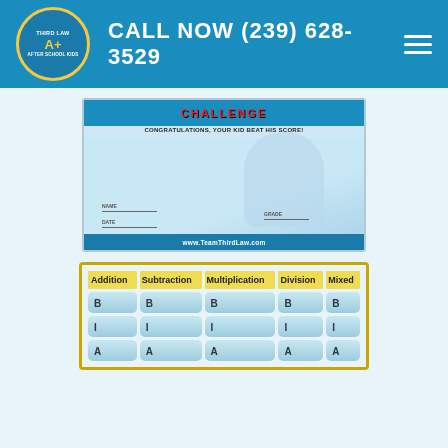CALL NOW (239) 628-3529
[Figure (illustration): Third Law After School Kids challenge certificate showing a cartoon kid writing at a desk, with text CHALLENGE and CONGRATULATIONS, YOUR KID BEAT HIS SCORE!, fields for NAME, DATE, GRADE, and URL www.TeamThirdLaw.com]
| Addition | Subtraction | Multiplication | Division | Mixed |
| --- | --- | --- | --- | --- |
| B | B | B | B | B |
| I | I | I | I | I |
| A | A | A | A | A |